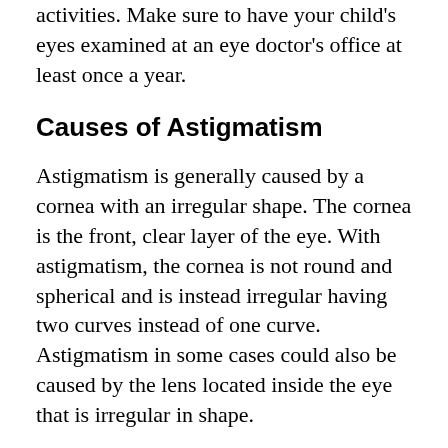activities. Make sure to have your child's eyes examined at an eye doctor's office at least once a year.
Causes of Astigmatism
Astigmatism is generally caused by a cornea with an irregular shape. The cornea is the front, clear layer of the eye. With astigmatism, the cornea is not round and spherical and is instead irregular having two curves instead of one curve. Astigmatism in some cases could also be caused by the lens located inside the eye that is irregular in shape.
Eyes with astigmatism distort the light that comes into the eyes because the cornea is irregularly shaped. This causes the light rays